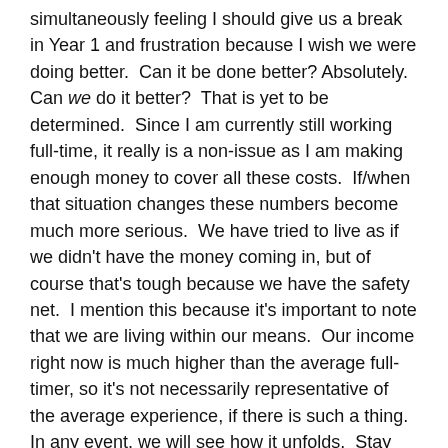simultaneously feeling I should give us a break in Year 1 and frustration because I wish we were doing better.  Can it be done better? Absolutely.  Can we do it better?  That is yet to be determined.  Since I am currently still working full-time, it really is a non-issue as I am making enough money to cover all these costs.  If/when that situation changes these numbers become much more serious.  We have tried to live as if we didn't have the money coming in, but of course that's tough because we have the safety net.  I mention this because it's important to note that we are living within our means.  Our income right now is much higher than the average full-timer, so it's not necessarily representative of the average experience, if there is such a thing.  In any event, we will see how it unfolds.  Stay tuned.